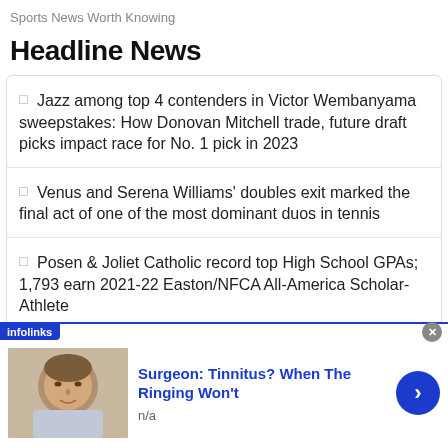Sports News Worth Knowing
Headline News
Jazz among top 4 contenders in Victor Wembanyama sweepstakes: How Donovan Mitchell trade, future draft picks impact race for No. 1 pick in 2023
Venus and Serena Williams' doubles exit marked the final act of one of the most dominant duos in tennis
Posen & Joliet Catholic record top High School GPAs; 1,793 earn 2021-22 Easton/NFCA All-America Scholar-Athlete
[Figure (advertisement): Infolinks ad banner showing a person's photo and headline: Surgeon: Tinnitus? When The Ringing Won't, with n/a subtext and a right-arrow navigation button. Close button in top right.]